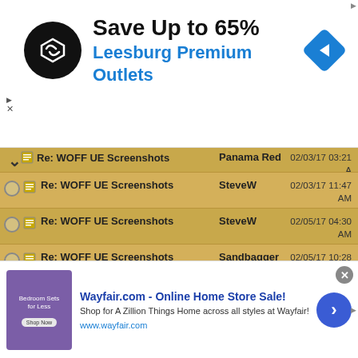[Figure (screenshot): Top advertisement banner: black circular logo with arrow symbol, 'Save Up to 65%' in bold black, 'Leesburg Premium Outlets' in blue, blue diamond navigation icon on right]
[Figure (screenshot): Email thread list showing multiple 'Re: WOFF UE Screenshots' entries by SteveW, Sandbagger, Blackard, Fullofit with dates around 02/03/17-02/05/17]
[Figure (screenshot): Bottom advertisement: Wayfair.com Online Home Store Sale with bedroom furniture image, text and blue arrow button]